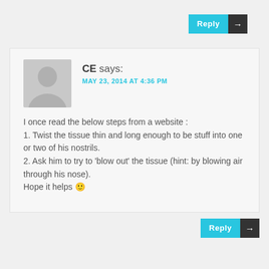[Figure (other): Reply button with cyan background and dark arrow at top right]
[Figure (photo): Generic grey avatar silhouette placeholder image]
CE says:
MAY 23, 2014 AT 4:36 PM
I once read the below steps from a website :
1. Twist the tissue thin and long enough to be stuff into one or two of his nostrils.
2. Ask him to try to 'blow out' the tissue (hint: by blowing air through his nose).
Hope it helps 🙂
[Figure (other): Reply button with cyan background and dark arrow at bottom right]